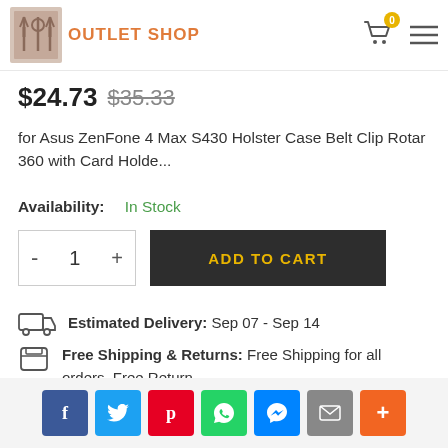OUTLET SHOP
$24.73  $35.33
for Asus ZenFone 4 Max S430 Holster Case Belt Clip Rotar 360 with Card Holde...
Availability:  In Stock
- 1 +  ADD TO CART
Estimated Delivery:  Sep 07 - Sep 14
Free Shipping & Returns:  Free Shipping for all orders. Free Return
f  t  p  WhatsApp  Messenger  Email  +